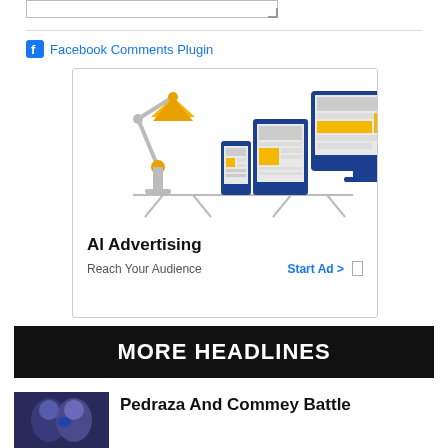[Figure (screenshot): Textarea input stub at top of page]
Facebook Comments Plugin
[Figure (illustration): AI Advertising banner showing a desk lamp and devices (phone, tablet, monitor) with yellow accent blocks. Title: AI Advertising. Subtext: Reach Your Audience. CTA: Start Ad >]
MORE HEADLINES
[Figure (photo): Boxing match photo thumbnail - blue toned]
Pedraza And Commey Battle